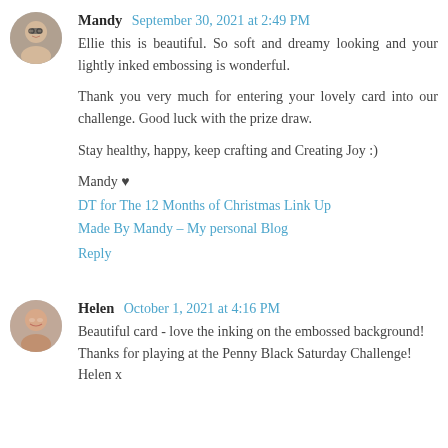[Figure (photo): Avatar photo of Mandy - person wearing glasses]
Mandy September 30, 2021 at 2:49 PM
Ellie this is beautiful. So soft and dreamy looking and your lightly inked embossing is wonderful.

Thank you very much for entering your lovely card into our challenge. Good luck with the prize draw.

Stay healthy, happy, keep crafting and Creating Joy :)

Mandy ♥
DT for The 12 Months of Christmas Link Up
Made By Mandy – My personal Blog
Reply
[Figure (photo): Avatar photo of Helen - smiling person]
Helen October 1, 2021 at 4:16 PM
Beautiful card - love the inking on the embossed background!
Thanks for playing at the Penny Black Saturday Challenge!
Helen x